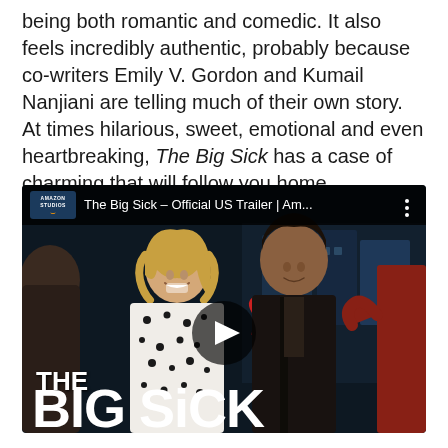being both romantic and comedic. It also feels incredibly authentic, probably because co-writers Emily V. Gordon and Kumail Nanjiani are telling much of their own story. At times hilarious, sweet, emotional and even heartbreaking, The Big Sick has a case of charming that will follow you home.
[Figure (screenshot): YouTube video thumbnail for 'The Big Sick – Official US Trailer | Am...' by Amazon Studios. Shows two people smiling in a party setting with THE BIG SICK title overlaid at the bottom. A play button is centered on the thumbnail.]